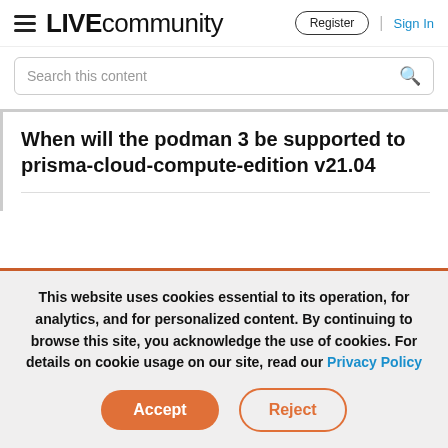≡ LIVEcommunity   Register | Sign In
Search this content
When will the podman 3 be supported to prisma-cloud-compute-edition v21.04
This website uses cookies essential to its operation, for analytics, and for personalized content. By continuing to browse this site, you acknowledge the use of cookies. For details on cookie usage on our site, read our Privacy Policy
Accept  Reject